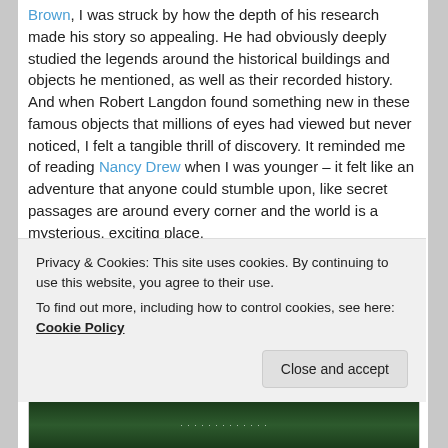Brown, I was struck by how the depth of his research made his story so appealing. He had obviously deeply studied the legends around the historical buildings and objects he mentioned, as well as their recorded history. And when Robert Langdon found something new in these famous objects that millions of eyes had viewed but never noticed, I felt a tangible thrill of discovery. It reminded me of reading Nancy Drew when I was younger – it felt like an adventure that anyone could stumble upon, like secret passages are around every corner and the world is a mysterious, exciting place.
[Figure (photo): A photo showing a sky gradient (blue-grey tones) in the upper portion and dark green foliage/trees in the lower portion.]
Privacy & Cookies: This site uses cookies. By continuing to use this website, you agree to their use.
To find out more, including how to control cookies, see here: Cookie Policy